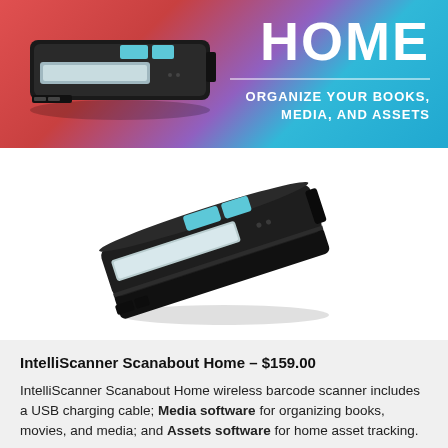[Figure (photo): Banner image showing IntelliScanner Scanabout Home device on a colorful gradient background (red, purple, blue) with the word HOME in large white letters, a divider line, and text 'ORGANIZE YOUR BOOKS, MEDIA, AND ASSETS']
[Figure (photo): Product photo of the IntelliScanner Scanabout Home wireless barcode scanner — a small black rectangular handheld device with teal/blue buttons on top, viewed at an angle on a white background]
IntelliScanner Scanabout Home – $159.00
IntelliScanner Scanabout Home wireless barcode scanner includes a USB charging cable; Media software for organizing books, movies, and media; and Assets software for home asset tracking.